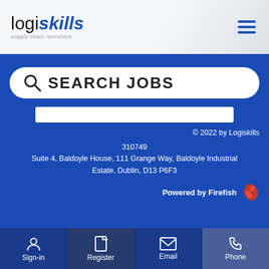[Figure (logo): Logiskills supply chain recruiters logo with hamburger menu icon]
SEARCH JOBS
© 2022 by Logiskills
310749
Suite 4, Baldoyle House, 111 Grange Way, Baldoyle Industrial Estate, Dublin, D13 P6F3
Powered by Firefish
Sign-in
Register
Email
Phone